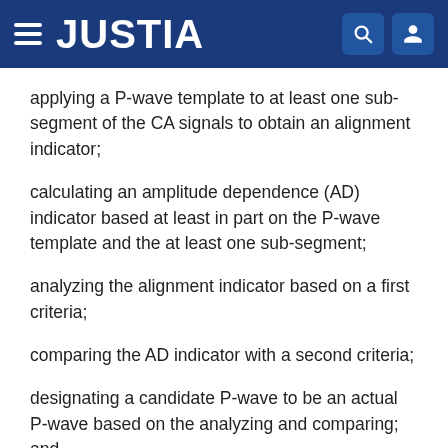JUSTIA
applying a P-wave template to at least one sub-segment of the CA signals to obtain an alignment indicator;
calculating an amplitude dependence (AD) indicator based at least in part on the P-wave template and the at least one sub-segment;
analyzing the alignment indicator based on a first criteria;
comparing the AD indicator with a second criteria;
designating a candidate P-wave to be an actual P-wave based on the analyzing and comparing; and
recording results of the designating.